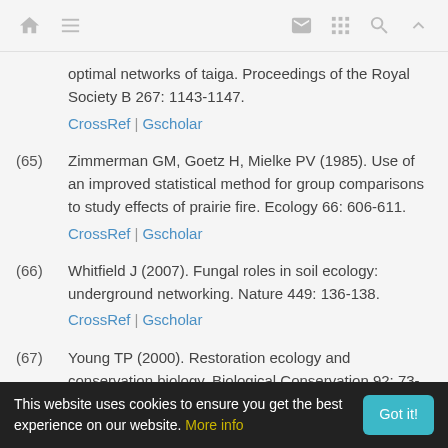navigation bar with home, menu, mail, grid, search, up icons
optimal networks of taiga. Proceedings of the Royal Society B 267: 1143-1147. CrossRef | Gscholar
(65) Zimmerman GM, Goetz H, Mielke PV (1985). Use of an improved statistical method for group comparisons to study effects of prairie fire. Ecology 66: 606-611. CrossRef | Gscholar
(66) Whitfield J (2007). Fungal roles in soil ecology: underground networking. Nature 449: 136-138. CrossRef | Gscholar
(67) Young TP (2000). Restoration ecology and conservation biology. Biological Conservation 92: 73-
This website uses cookies to ensure you get the best experience on our website. More info